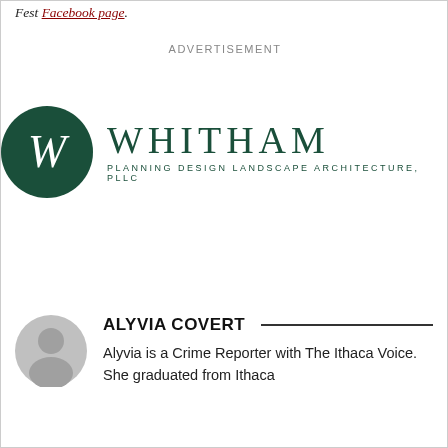Fest Facebook page.
ADVERTISEMENT
[Figure (logo): Whitham Planning Design Landscape Architecture, PLLC logo — dark green circle with italic W, followed by WHITHAM in large spaced caps with 'Planning Design Landscape Architecture, PLLC' in small caps below]
ALYVIA COVERT
Alyvia is a Crime Reporter with The Ithaca Voice. She graduated from Ithaca